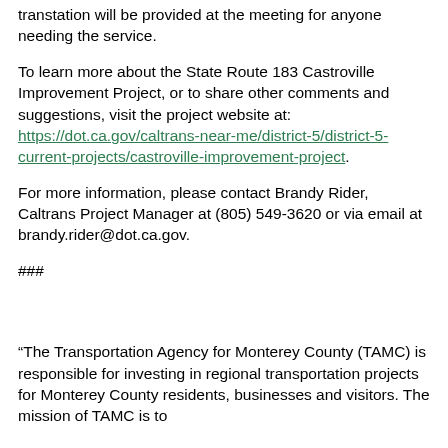transtation will be provided at the meeting for anyone needing the service.
To learn more about the State Route 183 Castroville Improvement Project, or to share other comments and suggestions, visit the project website at: https://dot.ca.gov/caltrans-near-me/district-5/district-5-current-projects/castroville-improvement-project.
For more information, please contact Brandy Rider, Caltrans Project Manager at (805) 549-3620 or via email at brandy.rider@dot.ca.gov.
###
“The Transportation Agency for Monterey County (TAMC) is responsible for investing in regional transportation projects for Monterey County residents, businesses and visitors. The mission of TAMC is to